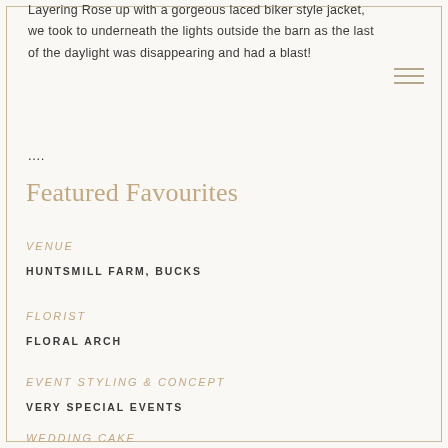Layering Rose up with a gorgeous laced biker style jacket, we took to underneath the lights outside the barn as the last of the daylight was disappearing and had a blast!
....
Featured Favourites
VENUE
HUNTSMILL FARM, BUCKS
FLORIST
FLORAL ARCH
EVENT STYLING & CONCEPT
VERY SPECIAL EVENTS
WEDDING CAKE